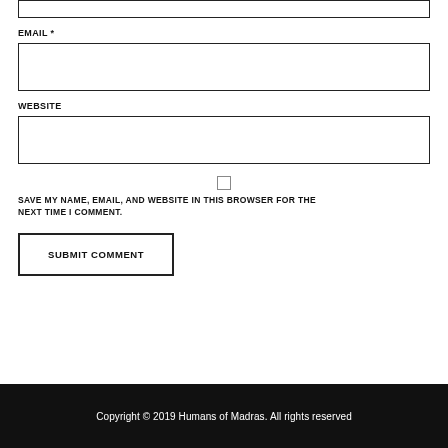EMAIL *
WEBSITE
SAVE MY NAME, EMAIL, AND WEBSITE IN THIS BROWSER FOR THE NEXT TIME I COMMENT.
SUBMIT COMMENT
Copyright © 2019 Humans of Madras. All rights reserved